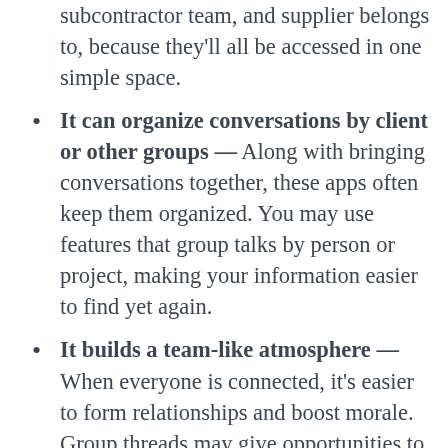subcontractor team, and supplier belongs to, because they'll all be accessed in one simple space.
It can organize conversations by client or other groups — Along with bringing conversations together, these apps often keep them organized. You may use features that group talks by person or project, making your information easier to find yet again.
It builds a team-like atmosphere — When everyone is connected, it's easier to form relationships and boost morale. Group threads may give opportunities to share motivational messages, and the ability to speak electronically to any project participant can keep the workplace healthy for all